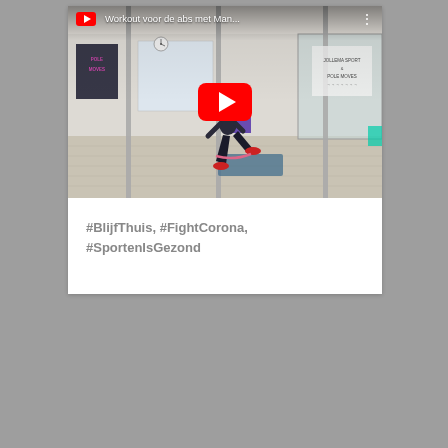[Figure (screenshot): YouTube video thumbnail showing a woman in a gym/pole dance studio doing a lunge exercise. The video title reads 'Workout voor de abs met Man...' with a YouTube play button overlay.]
#BlijfThuis, #FightCorona, #SportenIsGezond